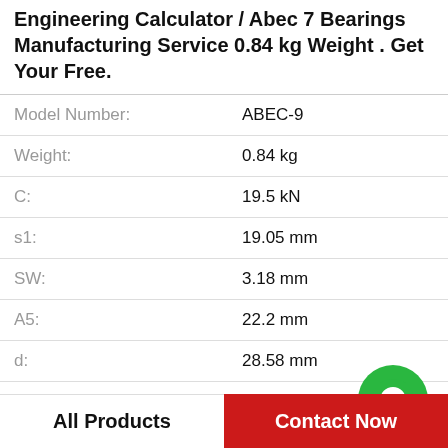Engineering Calculator / Abec 7 Bearings Manufacturing Service 0.84 kg Weight . Get Your Free.
| Property | Value |
| --- | --- |
| Model Number: | ABEC-9 |
| Weight: | 0.84 kg |
| C: | 19.5 kN |
| s1: | 19.05 mm |
| SW: | 3.18 mm |
| A5: | 22.2 mm |
| d: | 28.58 mm |
| H: | 85 mm |
| i: |  |
[Figure (logo): WhatsApp Online green circle icon with phone symbol and text WhatsApp Online]
All Products   Contact Now